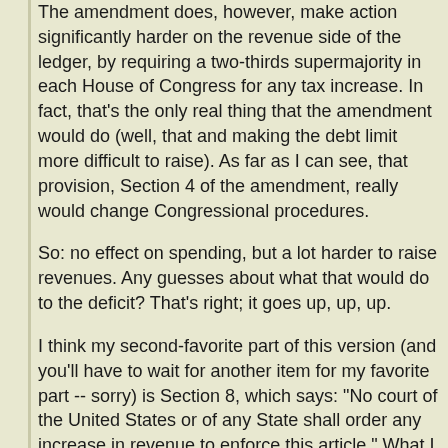The amendment does, however, make action significantly harder on the revenue side of the ledger, by requiring a two-thirds supermajority in each House of Congress for any tax increase. In fact, that's the only real thing that the amendment would do (well, that and making the debt limit more difficult to raise). As far as I can see, that provision, Section 4 of the amendment, really would change Congressional procedures.
So: no effect on spending, but a lot harder to raise revenues. Any guesses about what that would do to the deficit? That's right; it goes up, up, up.
I think my second-favorite part of this version (and you'll have to wait for another item for my favorite part -- sorry) is Section 8, which says: "No court of the United States or of any State shall order any increase in revenue to enforce this article." What I like about it is that it constitutes an admission that the only possible enforcement of this awful idea would involve transferring control of the federal budget from the Congress to the courts -- although in practice, it's hard to see exactly how a court could really enforce such a thing. Especially if